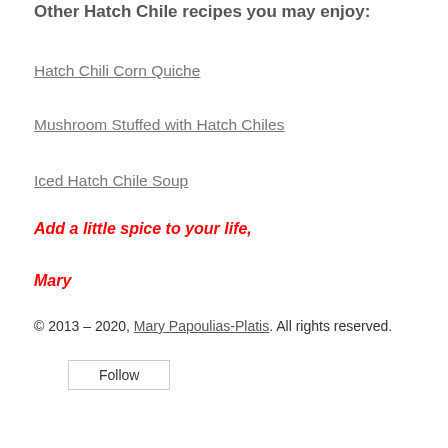Other Hatch Chile recipes you may enjoy:
Hatch Chili Corn Quiche
Mushroom Stuffed with Hatch Chiles
Iced Hatch Chile Soup
Add a little spice to your life,
Mary
© 2013 – 2020, Mary Papoulias-Platis. All rights reserved.
Follow